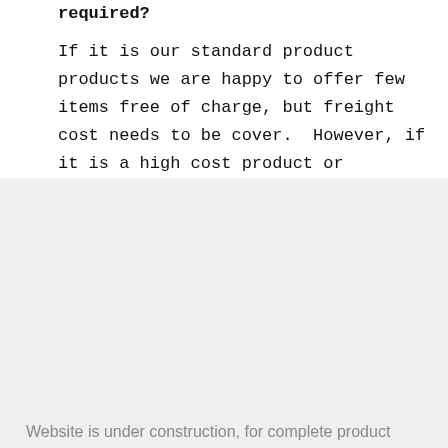required?
If it is our standard product products we are happy to offer few items free of charge, but freight cost needs to be cover.  However, if it is a high cost product or required a lot of samples or if it is customized product, there
Website is under construction, for complete product information, please access www.parkson.com.tw